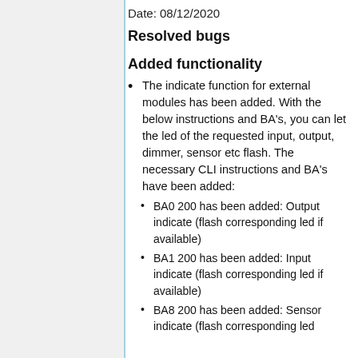Date: 08/12/2020
Resolved bugs
Added functionality
The indicate function for external modules has been added. With the below instructions and BA's, you can let the led of the requested input, output, dimmer, sensor etc flash. The necessary CLI instructions and BA's have been added:
BA0 200 has been added: Output indicate (flash corresponding led if available)
BA1 200 has been added: Input indicate (flash corresponding led if available)
BA8 200 has been added: Sensor indicate (flash corresponding led